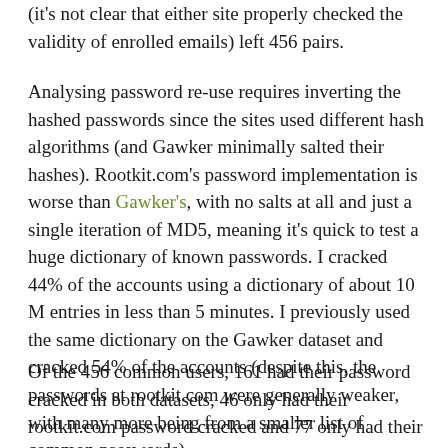(it's not clear that either site properly checked the validity of enrolled emails) left 456 pairs.
Analysing password re-use requires inverting the hashed passwords since the sites used different hash algorithms (and Gawker minimally salted their hashes). Rootkit.com's password implementation is worse than Gawker's, with no salts at all and just a single iteration of MD5, meaning it's quick to test a huge dictionary of known passwords. I cracked 44% of the accounts using a dictionary of about 10 M entries in less than 5 minutes. I previously used the same dictionary on the Gawker dataset and cracked 54% of the accounts (despite this, the passwords at rootkit.com were generally weaker, with many more being from a smaller list of common passwords).
Of the 456 common users, 161 had their password cracked in both datasets, 46 only had their rootkit.com password cracked and 77 only had their Gawker password cracked,